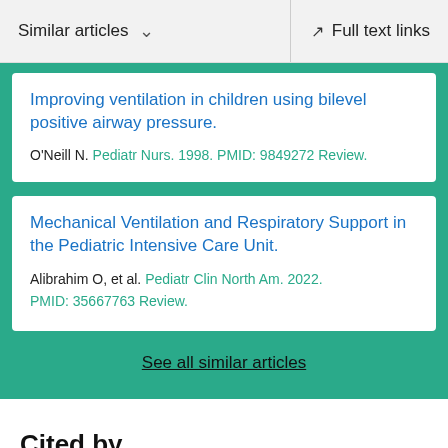Similar articles  ∨     Full text links
Improving ventilation in children using bilevel positive airway pressure.
O'Neill N. Pediatr Nurs. 1998. PMID: 9849272 Review.
Mechanical Ventilation and Respiratory Support in the Pediatric Intensive Care Unit.
Alibrahim O, et al. Pediatr Clin North Am. 2022. PMID: 35667763 Review.
See all similar articles
Cited by
Types of Endotracheal Intubation in Patients with...